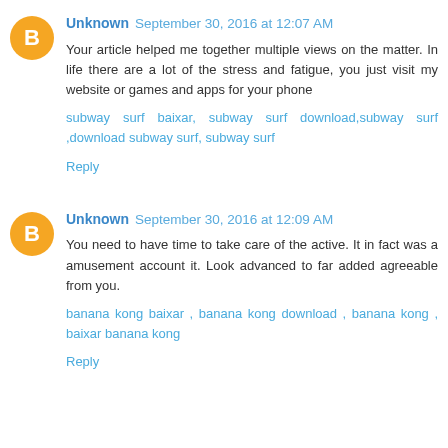Unknown September 30, 2016 at 12:07 AM
Your article helped me together multiple views on the matter. In life there are a lot of the stress and fatigue, you just visit my website or games and apps for your phone
subway surf baixar, subway surf download,subway surf ,download subway surf, subway surf
Reply
Unknown September 30, 2016 at 12:09 AM
You need to have time to take care of the active. It in fact was a amusement account it. Look advanced to far added agreeable from you.
banana kong baixar , banana kong download , banana kong , baixar banana kong
Reply